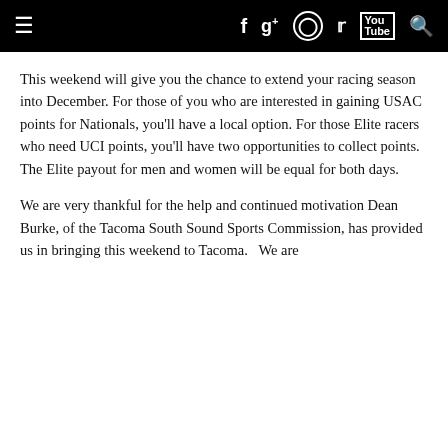Navigation bar with menu, Facebook, Google+, Instagram, Twitter, YouTube, Search icons
This weekend will give you the chance to extend your racing season into December. For those of you who are interested in gaining USAC points for Nationals, you'll have a local option. For those Elite racers who need UCI points, you'll have two opportunities to collect points.   The Elite payout for men and women will be equal for both days.
We are very thankful for the help and continued motivation Dean Burke, of the Tacoma South Sound Sports Commission, has provided us in bringing this weekend to Tacoma.   We are